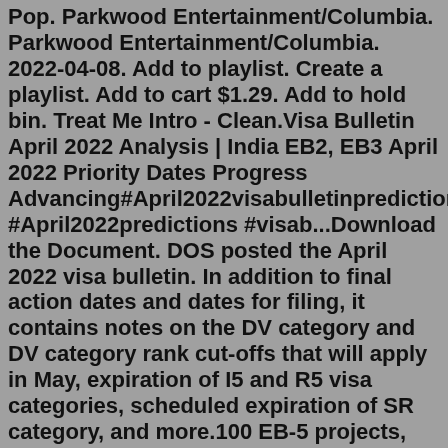Pop. Parkwood Entertainment/Columbia. Parkwood Entertainment/Columbia. 2022-04-08. Add to playlist. Create a playlist. Add to cart $1.29. Add to hold bin. Treat Me Intro - Clean.Visa Bulletin April 2022 Analysis | India EB2, EB3 April 2022 Priority Dates Progress Advancing#April2022visabulletinpredictions #April2022predictions #visab...Download the Document. DOS posted the April 2022 visa bulletin. In addition to final action dates and dates for filing, it contains notes on the DV category and DV category rank cut-offs that will apply in May, expiration of I5 and R5 visa categories, scheduled expiration of SR category, and more.100 EB-5 projects, closed more than $1.5 billion of EB-5 financing, and sourced more than half of that for our clients. EB-5 Investors Magazine named Jim one of the top 25 EB-5 lawyers in the United States, and Jim serves on the Public Policy Committee of the IIUSA, the EB-5 industry's trade group for regional centers. Contact Jim atAPS at EB 2022. Save the date for the upcoming American Physiological Society (APS) annual meeting at